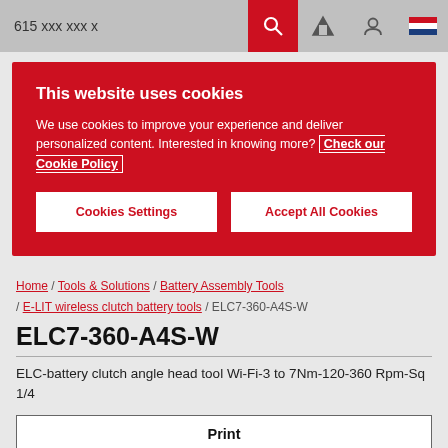615 xxx xxx x
This website uses cookies

We use cookies to improve your experience and deliver personalized content. Interested in knowing more? Check our Cookie Policy

Cookies Settings | Accept All Cookies
Home / Tools & Solutions / Battery Assembly Tools / E-LIT wireless clutch battery tools / ELC7-360-A4S-W
ELC7-360-A4S-W
ELC-battery clutch angle head tool Wi-Fi-3 to 7Nm-120-360 Rpm-Sq 1/4
Print